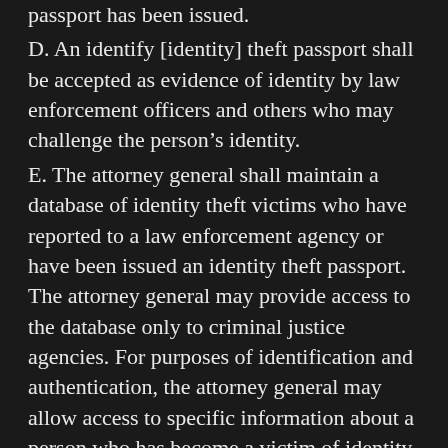passport has been issued.
D. An identify [identity] theft passport shall be accepted as evidence of identity by law enforcement officers and others who may challenge the person's identity.
E. The attorney general shall maintain a database of identity theft victims who have reported to a law enforcement agency or have been issued an identity theft passport. The attorney general may provide access to the database only to criminal justice agencies. For purposes of identification and authentication, the attorney general may allow access to specific information about a person who has become a victim of identity theft to that person or to that person's authorized representative.
F. The attorney general shall keep on file and